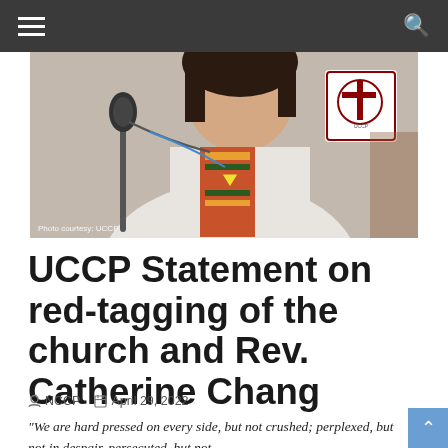Navigation bar with hamburger menu and search icon
[Figure (photo): A person at a microphone wearing a colorful patterned vestment/stole with a UCCP logo visible in the upper right. Caption reads: Photo courtesy: UCCP]
UCCP Statement on red-tagging of the church and Rev. Catherine Chang
NCCP  April 29, 2022
“We are hard pressed on every side, but not crushed; perplexed, but not in despair, persecuted, but not